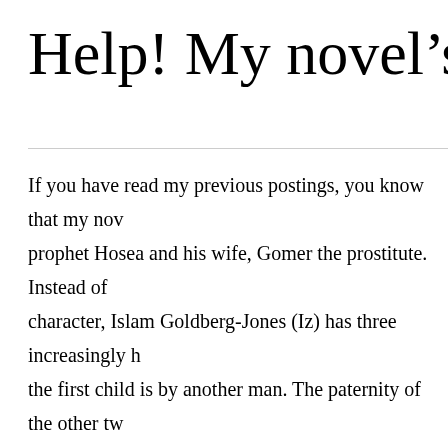Help! My novel's nam
If you have read my previous postings, you know that my nov prophet Hosea and his wife, Gomer the prostitute. Instead of character, Islam Goldberg-Jones (Iz) has three increasingly h the first child is by another man. The paternity of the other tw and assume they were Hosea's, and let's wag our finger at H the playground.)
The novel never tunes into a jocular “boys will be boys” vibe. end of infidelity and it brought life as I knew it to a crashing h before I felt stable in a relationship again. I knew from the beg prophetic character in my novel, was not going to tolerate Iz's stronger than I had been when she responded to Iz's infideliti circumstances of bringing down the fascist regime ruling the